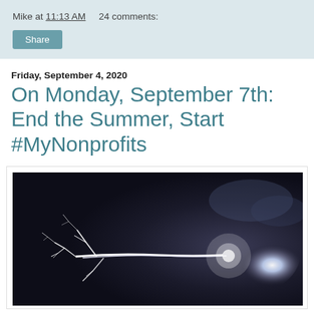Mike at 11:13 AM    24 comments:
Share
Friday, September 4, 2020
On Monday, September 7th: End the Summer, Start #MyNonprofits
[Figure (photo): A dramatic photograph of a lightning bolt against a dark night sky, with bright white branching lightning on the left side and a glowing white light source on the right.]